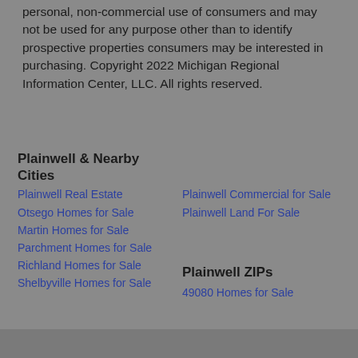personal, non-commercial use of consumers and may not be used for any purpose other than to identify prospective properties consumers may be interested in purchasing. Copyright 2022 Michigan Regional Information Center, LLC. All rights reserved.
Plainwell & Nearby Cities
Plainwell Real Estate
Otsego Homes for Sale
Martin Homes for Sale
Parchment Homes for Sale
Richland Homes for Sale
Shelbyville Homes for Sale
Plainwell Commercial for Sale
Plainwell Land For Sale
Plainwell ZIPs
49080 Homes for Sale